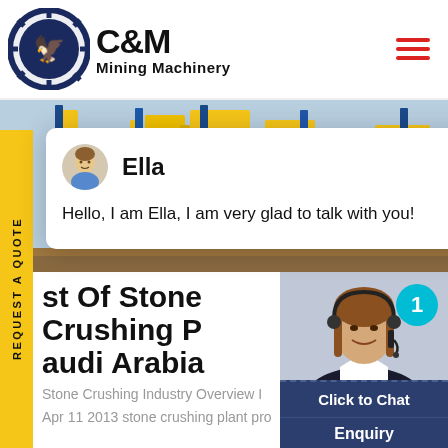[Figure (logo): C&M Mining Machinery logo with eagle in gear circle and company name]
[Figure (photo): Mining machinery equipment — yellow and blue industrial crushing plant]
[Figure (infographic): Chat widget with avatar of Ella and message: Hello, I am Ella, I am very glad to talk with you!]
st Of Stone Crushing P...  Saudi Arabia
Stone Crushing Industry Overview I...
Apr 11 2013 stone crushing plant pro...
[Figure (photo): Customer support agent woman with headset smiling, badge showing 1, Click to Chat button, Enquiry bar]